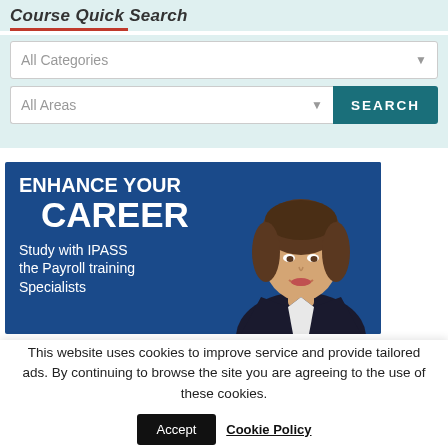Course Quick Search
[Figure (screenshot): Course Quick Search widget with two dropdowns (All Categories, All Areas) and a teal SEARCH button on a light blue background]
[Figure (infographic): Blue promotional banner reading ENHANCE YOUR CAREER / Study with IPASS the Payroll training Specialists, with a smiling professional woman on the right]
This website uses cookies to improve service and provide tailored ads. By continuing to browse the site you are agreeing to the use of these cookies.
Accept    Cookie Policy